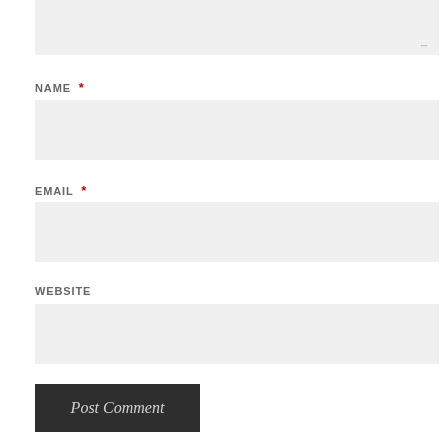[Figure (screenshot): Comment form textarea (top, partially visible, light gray background with resize handle)]
NAME *
[Figure (screenshot): Name input field, empty, light gray background]
EMAIL *
[Figure (screenshot): Email input field, empty, light gray background]
WEBSITE
[Figure (screenshot): Website input field, empty, light gray background]
Post Comment